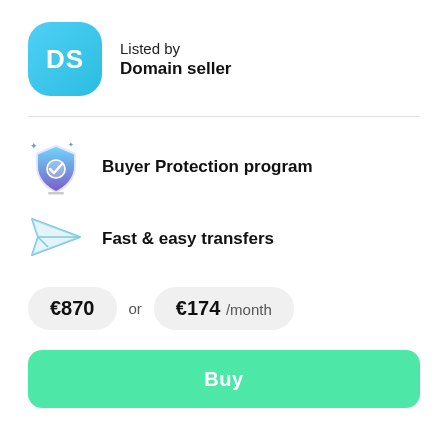[Figure (logo): DS avatar: rounded square with cyan/blue gradient and white letters DS]
Listed by
Domain seller
Buyer Protection program
Fast & easy transfers
€870 or €174 /month
Buy